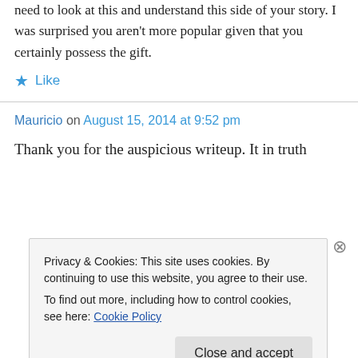need to look at this and understand this side of your story. I was surprised you aren't more popular given that you certainly possess the gift.
★ Like
Mauricio on August 15, 2014 at 9:52 pm
Thank you for the auspicious writeup. It in truth
Privacy & Cookies: This site uses cookies. By continuing to use this website, you agree to their use.
To find out more, including how to control cookies, see here: Cookie Policy
Close and accept